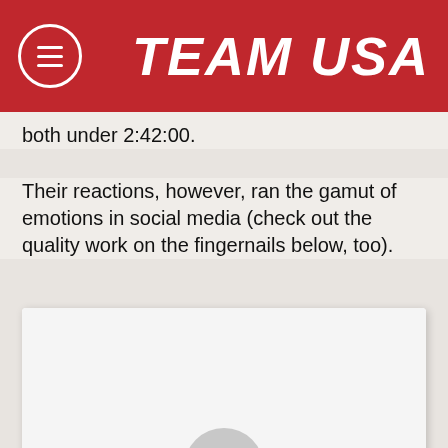TEAM USA
both under 2:42:00.
Their reactions, however, ran the gamut of emotions in social media (check out the quality work on the fingernails below, too).
[Figure (photo): A photo embedded in a white card/frame, partially visible, showing a blurred or partially visible image with a rounded top shape visible at the bottom of the frame.]